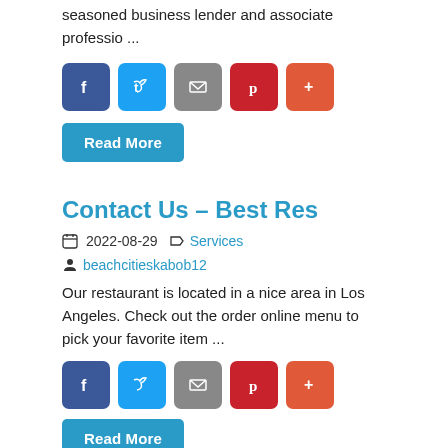seasoned business lender and associate professio ...
[Figure (infographic): Row of social share buttons: Facebook (blue), Twitter (light blue), Email (gray), Pinterest (red), More (orange-red)]
Read More
Contact Us - Best Res
2022-08-29   Services
beachcitieskabob12
Our restaurant is located in a nice area in Los Angeles. Check out the order online menu to pick your favorite item ...
[Figure (infographic): Row of social share buttons: Facebook (blue), Twitter (light blue), Email (gray), Pinterest (red), More (orange-red)]
Read More